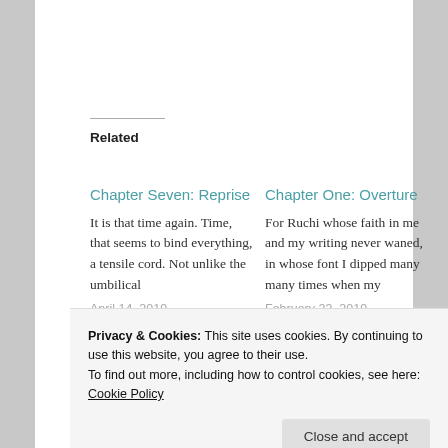Related
Chapter Seven: Reprise
It is that time again. Time, that seems to bind everything, a tensile cord. Not unlike the umbilical
April 14, 2019
In "Chapters"
Chapter One: Overture
For Ruchi whose faith in me and my writing never waned, in whose font I dipped many many times when my
February 23, 2019
With 101 comments
Privacy & Cookies: This site uses cookies. By continuing to use this website, you agree to their use.
To find out more, including how to control cookies, see here: Cookie Policy
vanished, nor is the